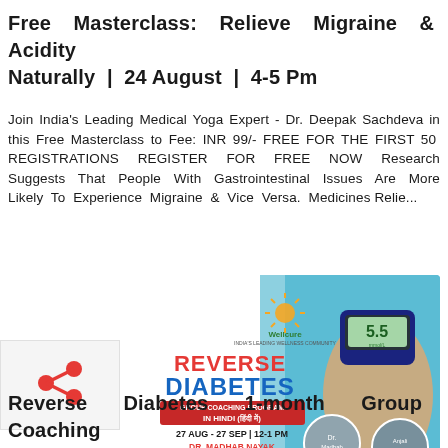Free Masterclass: Relieve Migraine & Acidity Naturally | 24 August | 4-5 Pm
Join India's Leading Medical Yoga Expert - Dr. Deepak Sachdeva in this Free Masterclass to Fee: INR 99/- FREE FOR THE FIRST 50 REGISTRATIONS REGISTER FOR FREE NOW Research Suggests That People With Gastrointestinal Issues Are More Likely To Experience Migraine & Vice Versa. Medicines Relie...
[Figure (photo): Wellcure ad banner: REVERSE DIABETES GROUP COACHING PROGRAM IN HINDI (हिंदी में) | 27 AUG - 27 SEP | 12-1 PM | DR. MADHAB NAYAK MBBS, M.D. | ANJALI RAUTHAN MASTERS - NUTRITION & DIETETICS. Shows a hand holding a glucose meter reading 5.5 and circular photos of the two presenters.]
[Figure (logo): Share icon with red share/network symbol on grey background]
Reverse Diabetes 1-month Group Coaching Program In Hindi | 27 Aug - 27 Sep | 12-1 Pm